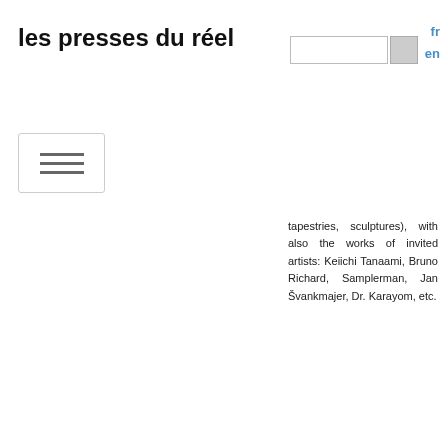les presses du réel
tapestries, sculptures), with also the works of invited artists: Keiichi Tanaami, Bruno Richard, Samplerman, Jan Švankmajer, Dr. Karayom, etc.
[Figure (photo): Teal/turquoise embossed book cover for 'Carnet de trains' by Blanquet, showing embossed figure motifs]
Carnet de trains
2019
no text
United Dead Artists

Blanquet's new notebook of fantastic and phantasmagorical drawings, in red ink mixed with green.
[Figure (photo): Book cover thumbnail for 'Par les masques écornés']
Par les masques écornés
2018